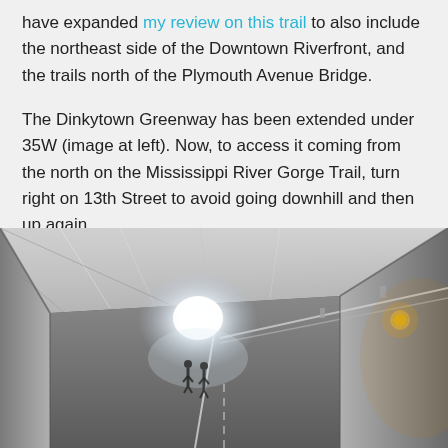have expanded my review on this trail to also include the northeast side of the Downtown Riverfront, and the trails north of the Plymouth Avenue Bridge.
The Dinkytown Greenway has been extended under 35W (image at left). Now, to access it coming from the north on the Mississippi River Gorge Trail, turn right on 13th Street to avoid going downhill and then up again.
[Figure (photo): Interior photograph of a concrete underpass/tunnel (Dinkytown Greenway under 35W). The tunnel extends toward a bright white light at the far end. The ceiling and walls are concrete with plastic sheeting on the ceiling. Yellow-orange lights are visible on the right side wall. Two small figures of people are visible near the far end of the tunnel. Bike lane markings are visible on the floor.]